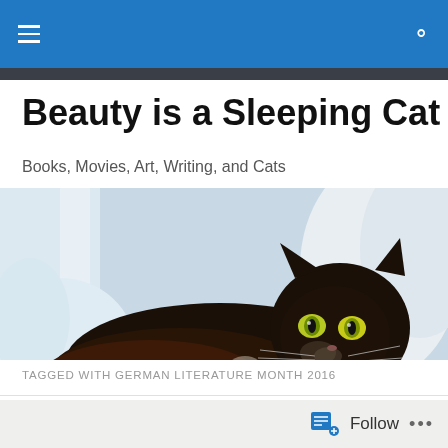navigation bar with hamburger menu and search icon
Beauty is a Sleeping Cat
Books, Movies, Art, Writing, and Cats
[Figure (photo): A black cat with green eyes lying on white bedding/pillows, looking at camera]
TAGGED WITH GERMAN LITERATURE MONTH 2016
Follow ...